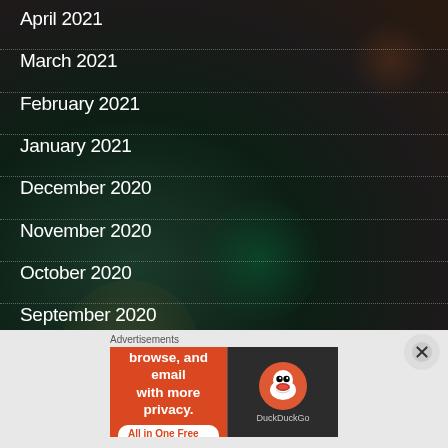April 2021
March 2021
February 2021
January 2021
December 2020
November 2020
October 2020
September 2020
August 2020
[Figure (other): Close/dismiss button (X circle) in bottom-right corner of dark background area]
Advertisements
[Figure (other): DuckDuckGo advertisement banner: orange left panel with text 'Search, browse, and email with more privacy. All in One Free App', dark right panel with DuckDuckGo logo and text 'DuckDuckGo']